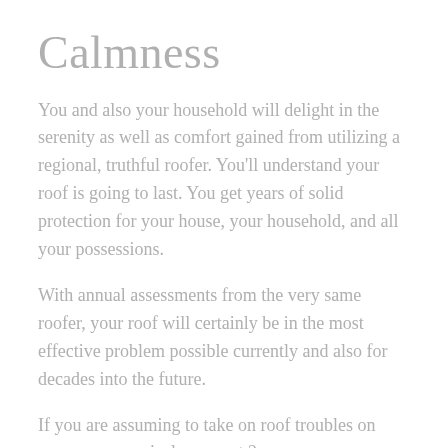Calmness
You and also your household will delight in the serenity as well as comfort gained from utilizing a regional, truthful roofer. You'll understand your roof is going to last. You get years of solid protection for your house, your household, and all your possessions.
With annual assessments from the very same roofer, your roof will certainly be in the most effective problem possible currently and also for decades into the future.
If you are assuming to take on roof troubles on your own, we nicely suggest 2, even more, nouns: futility and injury. Roof work is naturally harmful. Residential